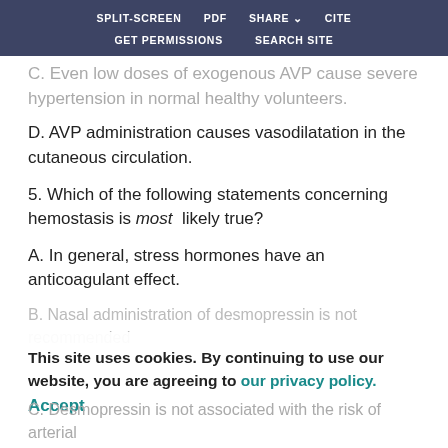SPLIT-SCREEN  PDF  SHARE  CITE  GET PERMISSIONS  SEARCH SITE
C. Even low doses of exogenous AVP cause severe hypertension in normal healthy volunteers.
D. AVP administration causes vasodilatation in the cutaneous circulation.
5. Which of the following statements concerning hemostasis is most likely true?
A. In general, stress hormones have an anticoagulant effect.
B. Nasal administration of desmopressin is not recommended
This site uses cookies. By continuing to use our website, you are agreeing to our privacy policy. Accept
C. Desmopressin is not associated with the risk of arterial